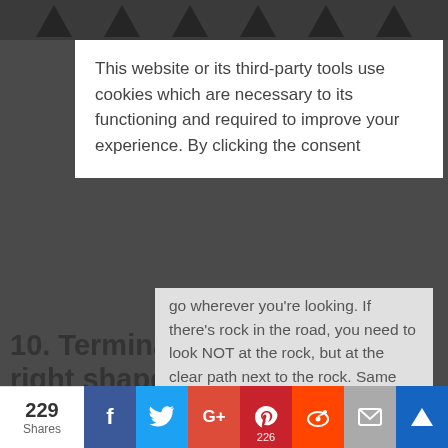This website or its third-party tools use cookies which are necessary to its functioning and required to improve your experience. By clicking the consent
go wherever you're looking. If there's rock in the road, you need to look NOT at the rock, but at the clear path next to the rock. Same with the tip of your pen!
10. Terminals — are they the right shape? Are they
229 Shares
f
G+
226
s
✉
♛